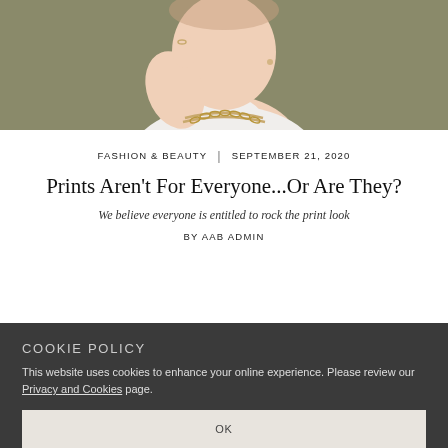[Figure (photo): Cropped photo of a person wearing a white turtleneck sweater and a gold chain-link necklace, with olive/khaki background, shown from shoulders up]
FASHION & BEAUTY | SEPTEMBER 21, 2020
Prints Aren't For Everyone...Or Are They?
We believe everyone is entitled to rock the print look
BY AAB ADMIN
COOKIE POLICY
This website uses cookies to enhance your online experience. Please review our Privacy and Cookies page.
OK